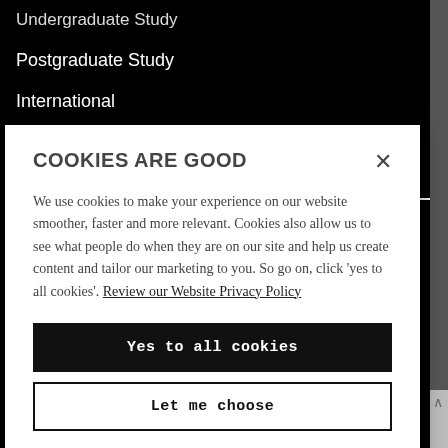Undergraduate Study
Postgraduate Study
International
University Library
Academic Departments
COOKIES ARE GOOD
We use cookies to make your experience on our website smoother, faster and more relevant. Cookies also allow us to see what people do when they are on our site and help us create content and tailor our marketing to you. So go on, click 'yes to all cookies'. Review our Website Privacy Policy
Yes to all cookies
Let me choose
Accessibility Statement